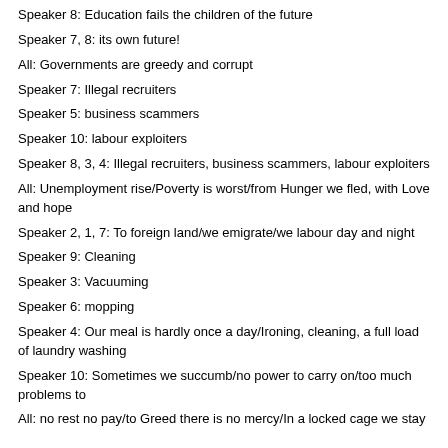Speaker 8: Education fails the children of the future
Speaker 7, 8: its own future!
All: Governments are greedy and corrupt
Speaker 7: Illegal recruiters
Speaker 5: business scammers
Speaker 10: labour exploiters
Speaker 8, 3, 4: Illegal recruiters, business scammers, labour exploiters
All: Unemployment rise/Poverty is worst/from Hunger we fled, with Love and hope
Speaker 2, 1, 7: To foreign land/we emigrate/we labour day and night
Speaker 9: Cleaning
Speaker 3: Vacuuming
Speaker 6: mopping
Speaker 4: Our meal is hardly once a day/Ironing, cleaning, a full load of laundry washing
Speaker 10: Sometimes we succumb/no power to carry on/too much problems to
All: no rest no pay/to Greed there is no mercy/In a locked cage we stay